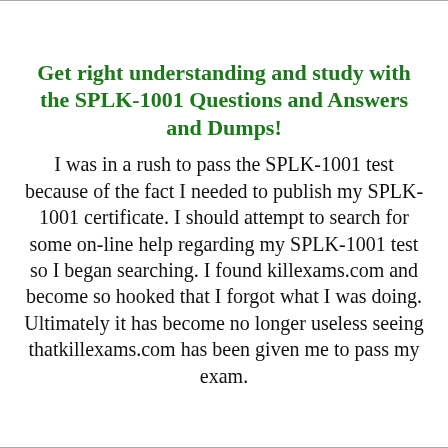Get right understanding and study with the SPLK-1001 Questions and Answers and Dumps!
I was in a rush to pass the SPLK-1001 test because of the fact I needed to publish my SPLK-1001 certificate. I should attempt to search for some on-line help regarding my SPLK-1001 test so I began searching. I found killexams.com and become so hooked that I forgot what I was doing. Ultimately it has become no longer useless seeing thatkillexams.com has been given me to pass my exam.